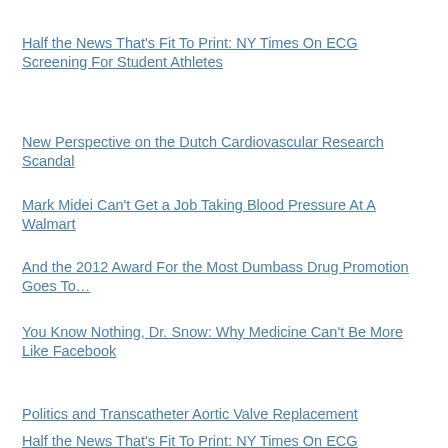Half the News That's Fit To Print: NY Times On ECG Screening For Student Athletes
New Perspective on the Dutch Cardiovascular Research Scandal
Mark Midei Can't Get a Job Taking Blood Pressure At A Walmart
And the 2012 Award For the Most Dumbass Drug Promotion Goes To…
You Know Nothing, Dr. Snow: Why Medicine Can't Be More Like Facebook
Politics and Transcatheter Aortic Valve Replacement
Half the News That's Fit To Print: NY Times On ECG Screening For